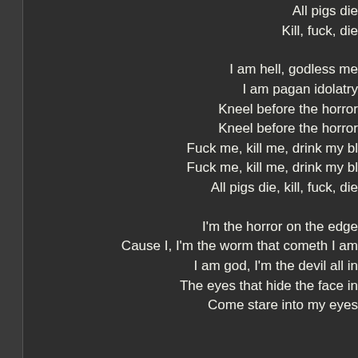All pigs die
Kill, fuck, die
I am hell, godless me
I am pagan idolatry
Kneel before the horror
Kneel before the horror
Fuck me, kill me, drink my bl
Fuck me, kill me, drink my bl
All pigs die, kill, fuck, die
I'm the horror on the edge
Cause I, I'm the worm that cometh I am
I am god, I'm the devil all in
The eyes that hide the face in
Come stare into my eyes
11. Tokyo's On Fir
[BONUS TRACK]
Big mondo fun, the land of the ris
A monster rising in my eye
My eyes are red with bloo
And I can't see the sun
Come with me and you're gonn
There ain't nowhere to ru